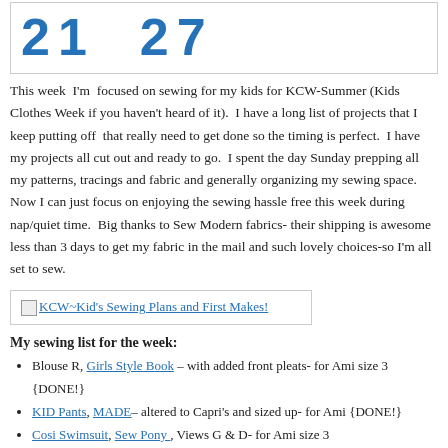[Figure (other): Large blue stylized numbers '21 27' on white background with border]
This week I'm focused on sewing for my kids for KCW-Summer (Kids Clothes Week if you haven't heard of it). I have a long list of projects that I keep putting off that really need to get done so the timing is perfect. I have my projects all cut out and ready to go. I spent the day Sunday prepping all my patterns, tracings and fabric and generally organizing my sewing space. Now I can just focus on enjoying the sewing hassle free this week during nap/quiet time. Big thanks to Sew Modern fabrics- their shipping is awesome less than 3 days to get my fabric in the mail and such lovely choices-so I'm all set to sew.
[Figure (other): Image link: KCW~Kid's Sewing Plans and First Makes!]
My sewing list for the week:
Blouse R, Girls Style Book – with added front pleats- for Ami size 3 {DONE!}
KID Pants, MADE– altered to Capri's and sized up- for Ami {DONE!}
Cosi Swimsuit, Sew Pony , Views G & D- for Ami size 3
Skater, Kitschy Coo, altered to Boys Rashguard-for Nigel size 7-8Y